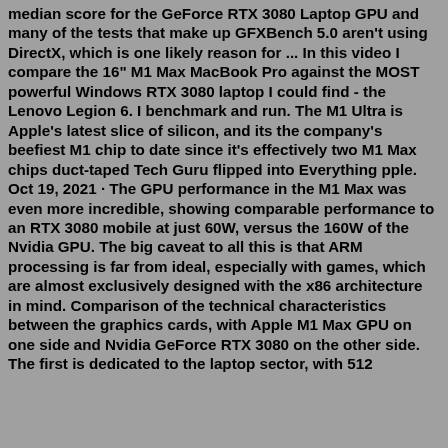median score for the GeForce RTX 3080 Laptop GPU and many of the tests that make up GFXBench 5.0 aren't using DirectX, which is one likely reason for ... In this video I compare the 16" M1 Max MacBook Pro against the MOST powerful Windows RTX 3080 laptop I could find - the Lenovo Legion 6. I benchmark and run. The M1 Ultra is Apple's latest slice of silicon, and its the company's beefiest M1 chip to date since it's effectively two M1 Max chips duct-taped Tech Guru flipped into Everything pple. Oct 19, 2021 · The GPU performance in the M1 Max was even more incredible, showing comparable performance to an RTX 3080 mobile at just 60W, versus the 160W of the Nvidia GPU. The big caveat to all this is that ARM processing is far from ideal, especially with games, which are almost exclusively designed with the x86 architecture in mind. Comparison of the technical characteristics between the graphics cards, with Apple M1 Max GPU on one side and Nvidia GeForce RTX 3080 on the other side. The first is dedicated to the laptop sector, with 512